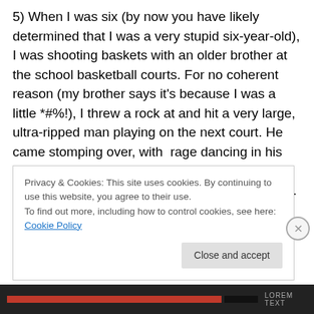5) When I was six (by now you have likely determined that I was a very stupid six-year-old), I was shooting baskets with an older brother at the school basketball courts. For no coherent reason (my brother says it's because I was a little *#%!), I threw a rock at and hit a very large, ultra-ripped man playing on the next court. He came stomping over, with  rage dancing in his eyes; my then thirteen-year-old brother stepped between us and somehow diffused the situation. A couple of minutes later, as my brother admonished me for being a little *#%!, I was hit by a rock thrown from the other court. I was struck not only by the
Privacy & Cookies: This site uses cookies. By continuing to use this website, you agree to their use.
To find out more, including how to control cookies, see here: Cookie Policy